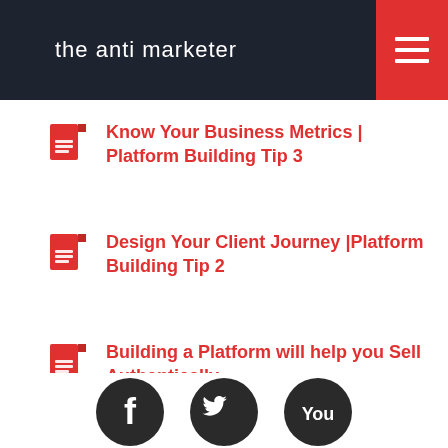the anti marketer
Know Your Business Metrics | Platform Building Tip 3
Design Your Client Journey |Platform Building Tip 2
Building a Platform will help you Sell Authentically
[Figure (illustration): Social media icons (Facebook, Twitter, YouTube) in dark circular badges at bottom of page]